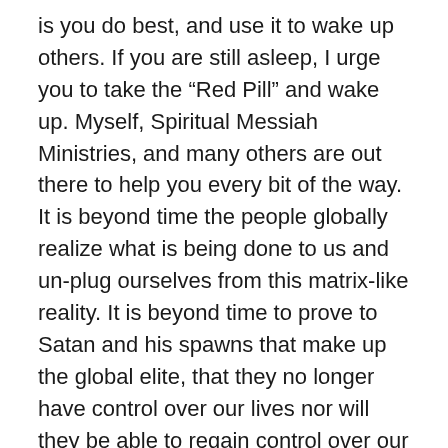is you do best, and use it to wake up others. If you are still asleep, I urge you to take the “Red Pill” and wake up. Myself, Spiritual Messiah Ministries, and many others are out there to help you every bit of the way. It is beyond time the people globally realize what is being done to us and un-plug ourselves from this matrix-like reality. It is beyond time to prove to Satan and his spawns that make up the global elite, that they no longer have control over our lives nor will they be able to regain control over our lives anytime in the future. We out number them and their minions 10 to 1. It is not that hard to take control of our lives again. Accepting Truth, accepting Jesus Christ is the first step. The next is finding a mentor to help you through the inevitable emotional rollercoaster ride you will go through, as everyone before you has, as you realize just how much of your life has been lies.